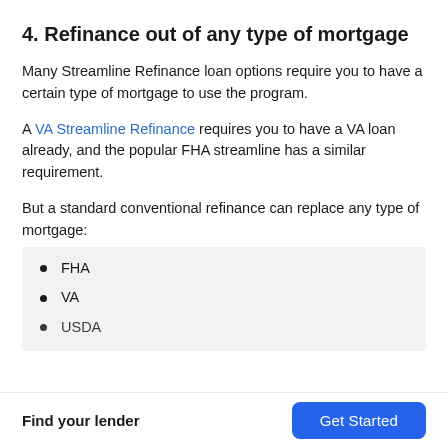4. Refinance out of any type of mortgage
Many Streamline Refinance loan options require you to have a certain type of mortgage to use the program.
A VA Streamline Refinance requires you to have a VA loan already, and the popular FHA streamline has a similar requirement.
But a standard conventional refinance can replace any type of mortgage:
FHA
VA
USDA
Find your lender  Get Started